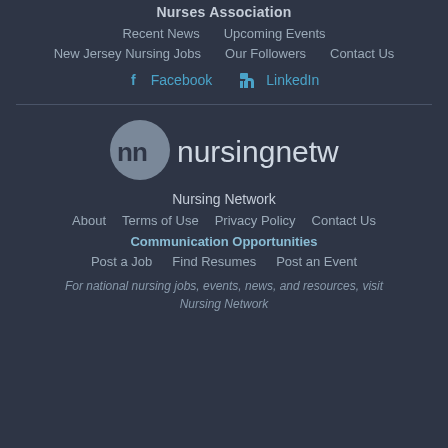Nurses Association
Recent News    Upcoming Events
New Jersey Nursing Jobs    Our Followers    Contact Us
Facebook    LinkedIn
[Figure (logo): Nursing Network logo: grey circle with 'nn' text and 'nursingnetwork' wordmark]
Nursing Network
About    Terms of Use    Privacy Policy    Contact Us
Communication Opportunities
Post a Job    Find Resumes    Post an Event
For national nursing jobs, events, news, and resources, visit Nursing Network